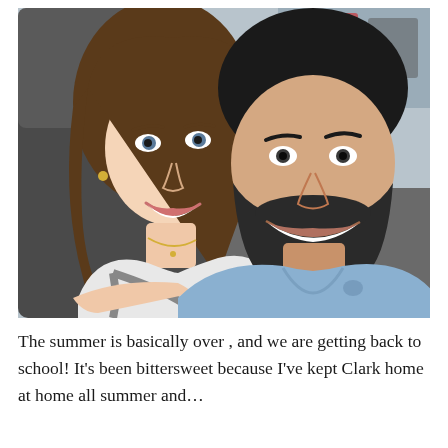[Figure (photo): A smiling couple taking a selfie inside a car. A woman with long brown hair wearing a white top is on the left, and a man with dark hair and beard wearing a light blue t-shirt is on the right.]
The summer is basically over , and we are getting back to school! It's been bittersweet because I've kept Clark home at home all summer and...